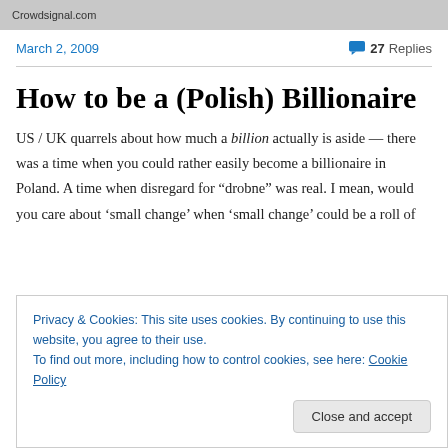Crowdsignal.com
March 2, 2009
💬 27 Replies
How to be a (Polish) Billionaire
US / UK quarrels about how much a billion actually is aside — there was a time when you could rather easily become a billionaire in Poland. A time when disregard for “drobne” was real. I mean, would you care about ‘small change’ when ‘small change’ could be a roll of
Privacy & Cookies: This site uses cookies. By continuing to use this website, you agree to their use.
To find out more, including how to control cookies, see here: Cookie Policy
Close and accept